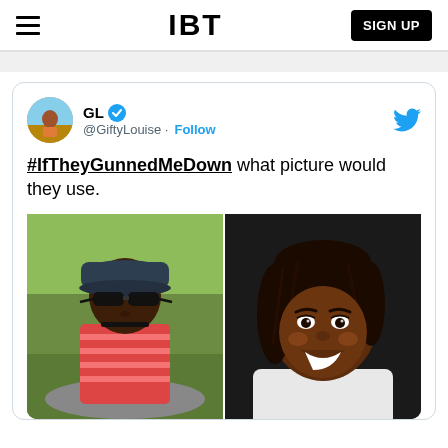IBT | SIGN UP
[Figure (screenshot): Tweet from @GiftyLouise (GL) with verified badge and Follow button. Tweet text: '#IfTheyGunnedMeDown what picture would they use.' Tweet contains two side-by-side photos of a young Black woman: left photo shows her wearing a dark cap and sunglasses outdoors; right photo shows her smiling warmly in a professional-style portrait.]